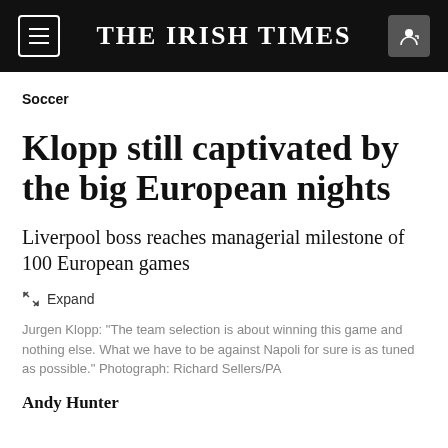THE IRISH TIMES
Soccer
Klopp still captivated by the big European nights
Liverpool boss reaches managerial milestone of 100 European games
Jurgen Klopp: "The team selection is about winning this game and nothing else. What we have to be against Napoli for sure is as tuned as possible." Photograph: Richard Sellers/PA
Andy Hunter